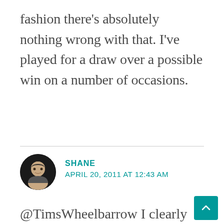fashion there's absolutely nothing wrong with that. I've played for a draw over a possible win on a number of occasions.
SHANE
APRIL 20, 2011 AT 12:43 AM
@TimsWheelbarrow I clearly had the board advantage and was way higher in life. When it comes to a grinder the player with the higher life total wins the match when time was called. I had scooped the